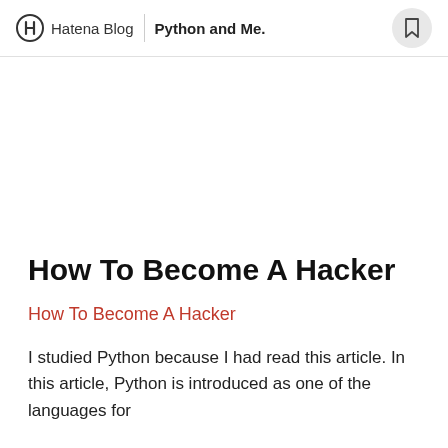Hatena Blog | Python and Me.
How To Become A Hacker
How To Become A Hacker
I studied Python because I had read this article. In this article, Python is introduced as one of the languages for